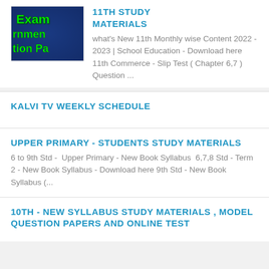[Figure (screenshot): Thumbnail image with dark blue background and green text reading 'Exam Government Question Pa']
11TH STUDY MATERIALS
what's New 11th Monthly wise Content 2022 - 2023 | School Education - Download here 11th Commerce - Slip Test ( Chapter 6,7 ) Question ...
KALVI TV WEEKLY SCHEDULE
UPPER PRIMARY - STUDENTS STUDY MATERIALS
6 to 9th Std -  Upper Primary - New Book Syllabus  6,7,8 Std - Term 2 - New Book Syllabus - Download here 9th Std - New Book Syllabus (...
10TH - NEW SYLLABUS STUDY MATERIALS , MODEL QUESTION PAPERS AND ONLINE TEST